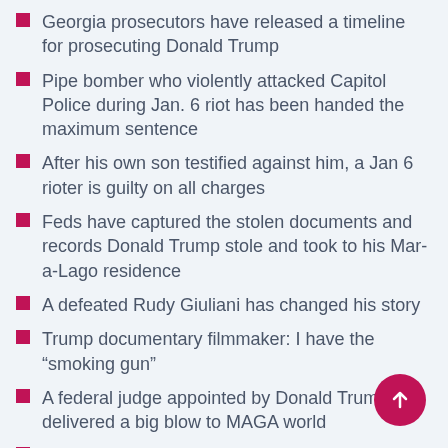Georgia prosecutors have released a timeline for prosecuting Donald Trump
Pipe bomber who violently attacked Capitol Police during Jan. 6 riot has been handed the maximum sentence
After his own son testified against him, a Jan 6 rioter is guilty on all charges
Feds have captured the stolen documents and records Donald Trump stole and took to his Mar-a-Lago residence
A defeated Rudy Giuliani has changed his story
Trump documentary filmmaker: I have the “smoking gun”
A federal judge appointed by Donald Trump has delivered a big blow to MAGA world
Watergate Prosecutor: Trump will be indicted, tried, and convicted in Georgia case